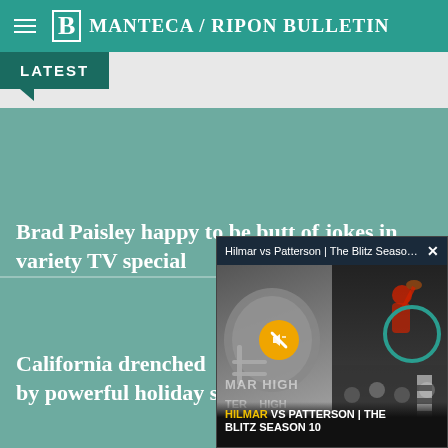Manteca / Ripon Bulletin
LATEST
Brad Paisley happy to be butt of jokes in variety TV special
California drenched by powerful holiday st
[Figure (screenshot): Video popup overlay titled 'Hilmar vs Patterson | The Blitz Season ...' with a football game image showing a helmet graphic on left and action footage on right, with mute button and overlay text 'HILMAR VS PATTERSON | THE BLITZ SEASON 10']